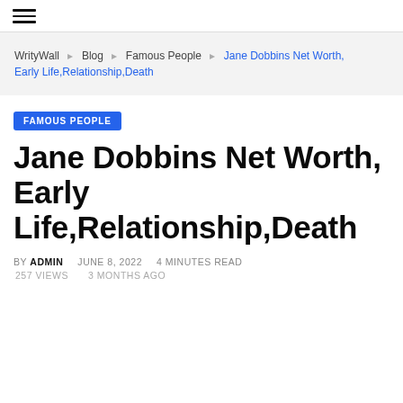≡ (hamburger menu)
WrityWall  Blog  Famous People  Jane Dobbins Net Worth, Early Life,Relationship,Death
FAMOUS PEOPLE
Jane Dobbins Net Worth, Early Life,Relationship,Death
BY ADMIN  JUNE 8, 2022  4 MINUTES READ
257 VIEWS  3 MONTHS AGO